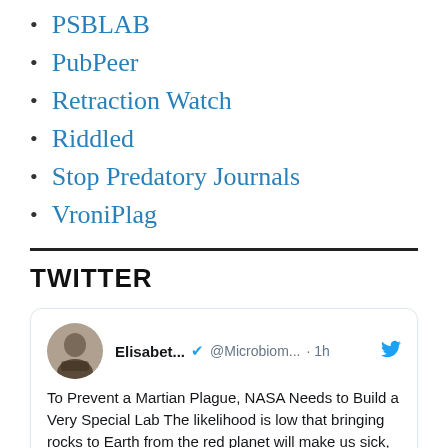PSBLAB
PubPeer
Retraction Watch
Riddled
Stop Predatory Journals
VroniPlag
TWITTER
[Figure (screenshot): Tweet card from user Elisabet... (@Microbiom...) with verified badge, posted 1h ago. Tweet text: 'To Prevent a Martian Plague, NASA Needs to Build a Very Special Lab The likelihood is low that bringing rocks to Earth from the red planet will make us sick, but the space agency isn't taking any chances.']